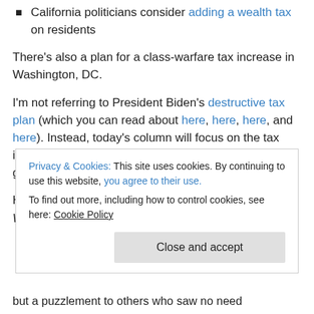California politicians consider adding a wealth tax on residents
There's also a plan for a class-warfare tax increase in Washington, DC.
I'm not referring to President Biden's destructive tax plan (which you can read about here, here, here, and here). Instead, today's column will focus on the tax increase being considered by the city's local government.
Here are some excerpt from a report in the Washington Post...
Privacy & Cookies: This site uses cookies. By continuing to use this website, you agree to their use. To find out more, including how to control cookies, see here: Cookie Policy
but a puzzlement to others who saw no need